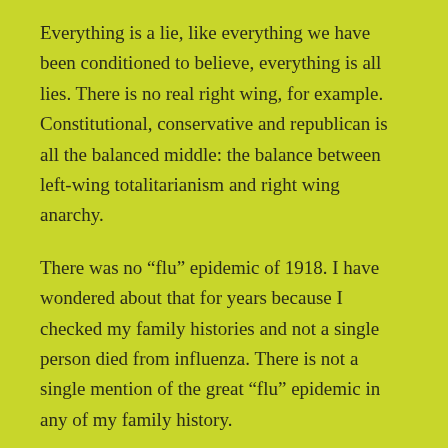Everything is a lie, like everything we have been conditioned to believe, everything is all lies. There is no real right wing, for example. Constitutional, conservative and republican is all the balanced middle: the balance between left-wing totalitarianism and right wing anarchy.
There was no “flu” epidemic of 1918. I have wondered about that for years because I checked my family histories and not a single person died from influenza. There is not a single mention of the great “flu” epidemic in any of my family history.
Influenza “season” perfectly coincides with over-eating season from Thanks-giving to January 2nd.
Nobody dies of actual influenza...